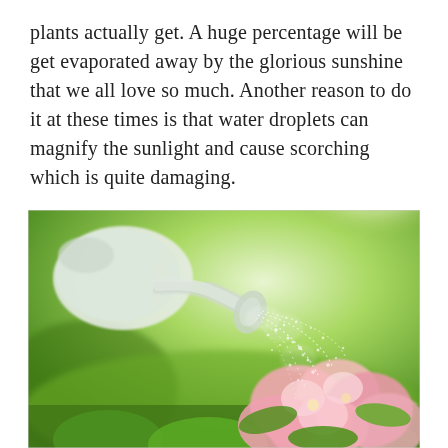plants actually get. A huge percentage will be get evaporated away by the glorious sunshine that we all love so much. Another reason to do it at these times is that water droplets can magnify the sunlight and cause scorching which is quite damaging.
[Figure (photo): A white watering can sprinkling water over pink flowering plants (azaleas) in a sunny garden with green blurred background.]